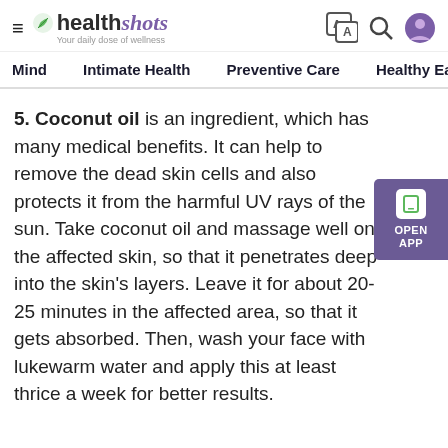healthshots — Your daily dose of wellness
Mind | Intimate Health | Preventive Care | Healthy Eating | F
5. Coconut oil is an ingredient, which has many medical benefits. It can help to remove the dead skin cells and also protects it from the harmful UV rays of the sun. Take coconut oil and massage well on the affected skin, so that it penetrates deep into the skin's layers. Leave it for about 20-25 minutes in the affected area, so that it gets absorbed. Then, wash your face with lukewarm water and apply this at least thrice a week for better results.